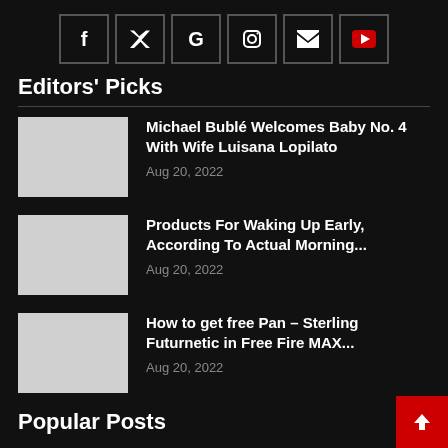[Figure (infographic): Social media icon buttons in a row: Facebook (f), Twitter (bird/t), Google (G), Instagram (camera), Email (envelope), YouTube (play button)]
Editors' Picks
Michael Bublé Welcomes Baby No. 4 With Wife Luisana Lopilato — Aug 20, 2022
Products For Waking Up Early, According To Actual Morning… — Aug 20, 2022
How to get free Pan – Sterling Futurnetic in Free Fire MAX… — Aug 20, 2022
Popular Posts